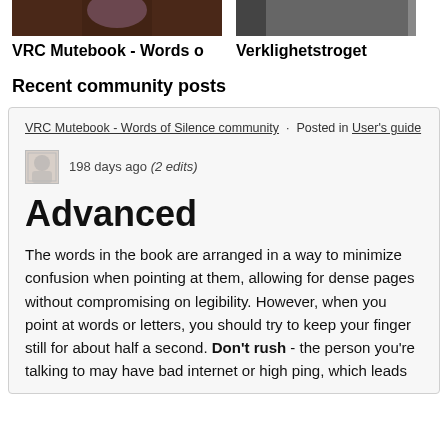[Figure (photo): Two thumbnail images side by side at the top of the page — left shows a character with pink/purple element, right shows a partial darker image with a vertical bar on the right edge.]
VRC Mutebook - Words o   Verklighetstroget
Recent community posts
VRC Mutebook - Words of Silence community · Posted in User's guide
198 days ago (2 edits)
Advanced
The words in the book are arranged in a way to minimize confusion when pointing at them, allowing for dense pages without compromising on legibility. However, when you point at words or letters, you should try to keep your finger still for about half a second. Don't rush - the person you're talking to may have bad internet or high ping, which leads